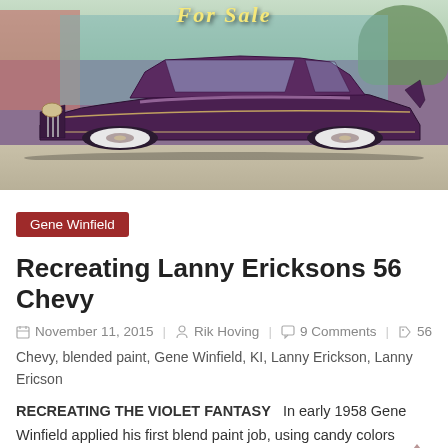[Figure (photo): A classic 1956 Chevrolet custom car with purple/violet candy paint blend, lowered stance, whitewall tires, parked in front of a building with a 'For Sale' sign above it.]
Gene Winfield
Recreating Lanny Ericksons 56 Chevy
November 11, 2015  Rik Hoving  9 Comments  56 Chevy, blended paint, Gene Winfield, KI, Lanny Erickson, Lanny Ericson
RECREATING THE VIOLET FANTASY   In early 1958 Gene Winfield applied his first blend paint job, using candy colors fading